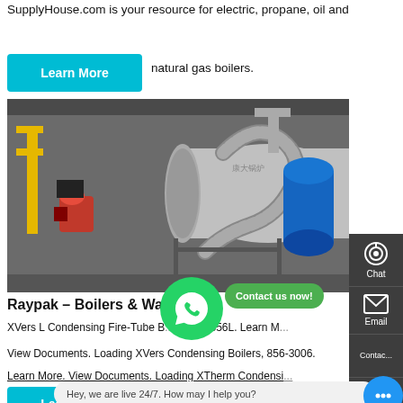SupplyHouse.com is your resource for electric, propane, oil and natural gas boilers.
[Figure (screenshot): Cyan 'Learn More' button overlaid on upper left]
[Figure (photo): Industrial boiler facility photo showing large cylindrical boilers, metal piping, red burner component, blue pressure tank, in a warehouse setting]
[Figure (infographic): Sidebar with Chat (headset icon), Email (envelope icon), and Contact (chat icon) options on dark grey background]
Raypak – Boilers & Water H...
XVers L Condensing Fire-Tube B... 406L - 856L. Learn M...
View Documents. Loading XVers Condensing Boilers, 856-3006.
Learn More. View Documents. Loading XTherm Condensi...
[Figure (infographic): WhatsApp green circle icon]
[Figure (infographic): Green 'Contact us now!' button]
[Figure (screenshot): Cyan 'Learn More' button at bottom]
Hey, we are live 24/7. How may I help you?